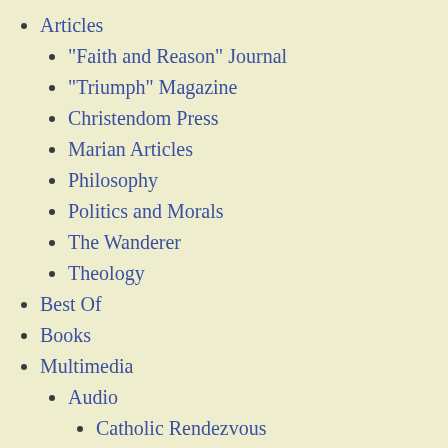Articles
"Faith and Reason" Journal
"Triumph" Magazine
Christendom Press
Marian Articles
Philosophy
Politics and Morals
The Wanderer
Theology
Best Of
Books
Multimedia
Audio
Catholic Rendezvous
Class Lectures: Theology of Public Order
Diocesan Catechesis Lectures